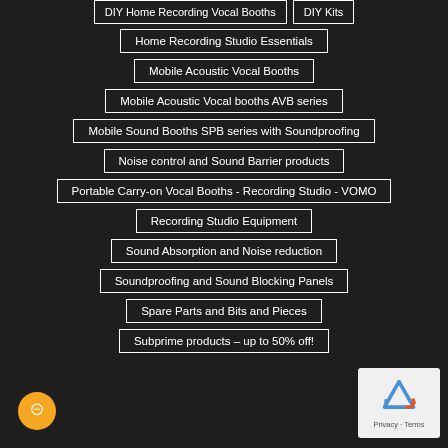DIY Home Recording Vocal Booths
DIY Kits
Home Recording Studio Essentials
Mobile Acoustic Vocal Booths
Mobile Acoustic Vocal booths AVB series
Mobile Sound Booths SPB series with Soundproofing
Noise control and Sound Barrier products
Portable Carry-on Vocal Booths - Recording Studio - VOMO
Recording Studio Equipment
Sound Absorption and Noise reduction
Soundproofing and Sound Blocking Panels
Spare Parts and Bits and Pieces
Subprime products – up to 50% off!